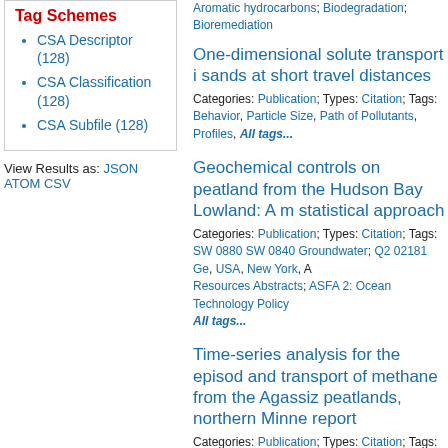Aromatic hydrocarbons; Biodegradation; Bioremediation
Tag Schemes
CSA Descriptor (128)
CSA Classification (128)
CSA Subfile (128)
View Results as: JSON ATOM CSV
One-dimensional solute transport in sands at short travel distances
Categories: Publication; Types: Citation; Tags: Behavior, Particle Size, Path of Pollutants, Profiles, All tags...
Geochemical controls on peatland from the Hudson Bay Lowland: A m statistical approach
Categories: Publication; Types: Citation; Tags: SW 0880 SW 0840 Groundwater; Q2 02181 Ge, USA, New York, A Resources Abstracts; ASFA 2: Ocean Technology Policy All tags...
Time-series analysis for the episod and transport of methane from the Agassiz peatlands, northern Minne report
Categories: Publication; Types: Citation; Tags: ASFA 2: C & Non Living Resources; Wate, Bogs, Carbon cycle, Cli